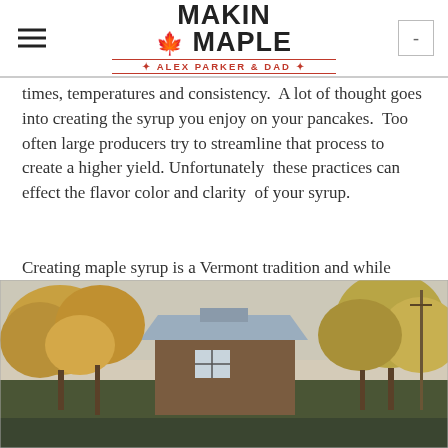MAKIN' MAPLE — ALEX PARKER & DAD
times, temperatures and consistency.  A lot of thought goes into creating the syrup you enjoy on your pancakes.  Too often large producers try to streamline that process to create a higher yield. Unfortunately these practices can effect the flavor color and clarity  of your syrup.
Creating maple syrup is a Vermont tradition and while modern tools have made the process easier, there is still no substitute for the experience of a Vermont Artisan.
[Figure (photo): Outdoor photograph showing a sugar shack or maple syrup production building with a metal roof, surrounded by autumn trees with golden and orange foliage.]